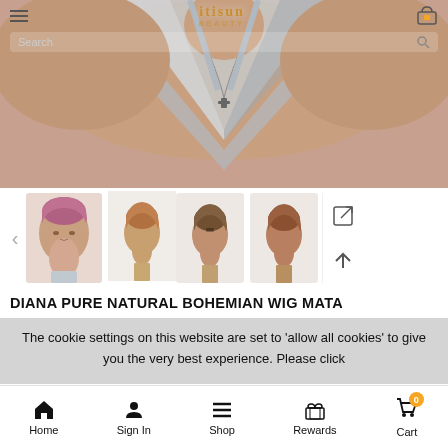[Figure (photo): E-commerce website screenshot showing a beauty/wig product page from 'Itisun Beauty'. Top area shows a model wearing a silver halter top with a cross necklace, cropped at chest/neck level. Below are four thumbnail images of short wigs on mannequin heads in brown/auburn shades. A product title reads 'DIANA PURE NATURAL BOHEMIAN WIG MATA'. A cookie consent banner overlays the lower portion. Bottom navigation bar has Home, Sign In, Shop, Rewards, Cart icons.]
Itisun BEAUTY
DIANA PURE NATURAL BOHEMIAN WIG MATA
The cookie settings on this website are set to 'allow all cookies' to give you the very best experience. Please click
Home   Sign In   Shop   Rewards   Cart